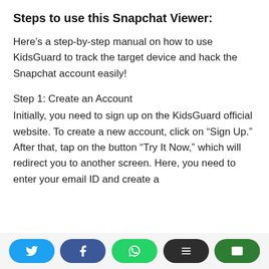Steps to use this Snapchat Viewer:
Here's a step-by-step manual on how to use KidsGuard to track the target device and hack the Snapchat account easily!
Step 1: Create an Account
Initially, you need to sign up on the KidsGuard official website. To create a new account, click on “Sign Up.” After that, tap on the button “Try It Now,” which will redirect you to another screen. Here, you need to enter your email ID and create a